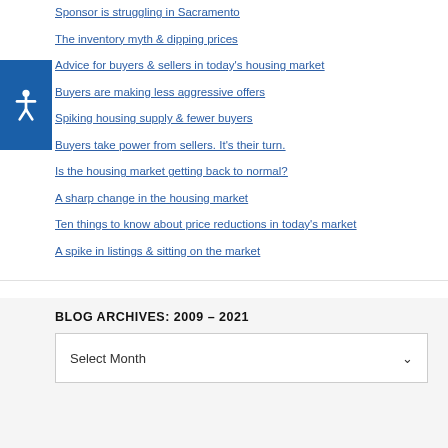Sponsor is struggling in Sacramento
The inventory myth & dipping prices
Advice for buyers & sellers in today's housing market
Buyers are making less aggressive offers
Spiking housing supply & fewer buyers
Buyers take power from sellers. It's their turn.
Is the housing market getting back to normal?
A sharp change in the housing market
Ten things to know about price reductions in today's market
A spike in listings & sitting on the market
BLOG ARCHIVES: 2009 – 2021